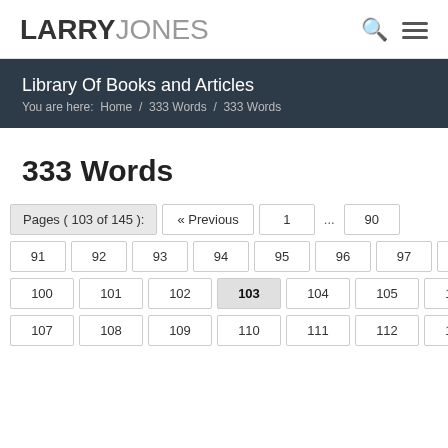LARRY JONES
Library Of Books and Articles
You are here:  Home  /  333 Words  /  333 Words
333 Words
Pages ( 103 of 145 ):  « Previous  1  ...  90  91  92  93  94  95  96  97  98  99  100  101  102  103  104  105  106  107  108  109  110  111  112  113